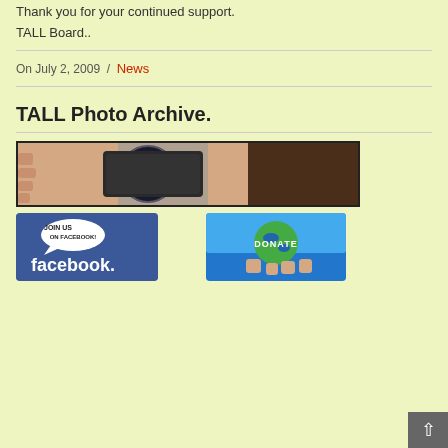Thank you for your continued support.
TALL Board..
On July 2, 2009  /  News
TALL Photo Archive.
[Figure (photo): A person holding a large camera lens up to their face, close-up shot showing the camera lens and the photographer's hands and hair]
[Figure (photo): Facebook Join Us on Facebook button/banner with blue background and white speech bubble]
[Figure (photo): DONATE button showing hands holding a globe with the word DONATE on it against a blue sky]